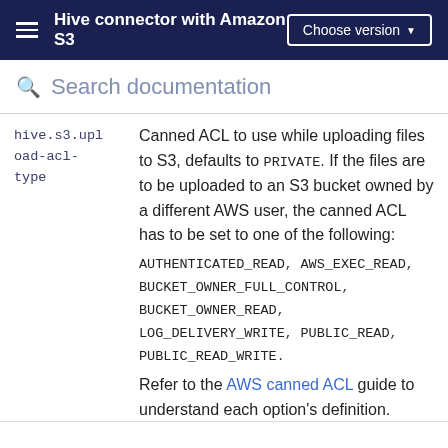Hive connector with Amazon S3 | Choose version
Search documentation
| Property | Description |
| --- | --- |
| hive.s3.upload-acl-type | Canned ACL to use while uploading files to S3, defaults to PRIVATE. If the files are to be uploaded to an S3 bucket owned by a different AWS user, the canned ACL has to be set to one of the following: AUTHENTICATED_READ, AWS_EXEC_READ, BUCKET_OWNER_FULL_CONTROL, BUCKET_OWNER_READ, LOG_DELIVERY_WRITE, PUBLIC_READ, PUBLIC_READ_WRITE. Refer to the AWS canned ACL guide to understand each option's definition. |